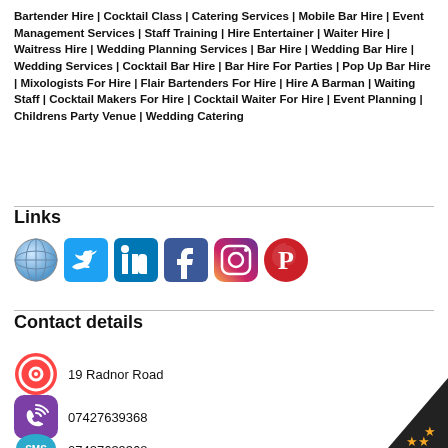Bartender Hire | Cocktail Class | Catering Services | Mobile Bar Hire | Event Management Services | Staff Training | Hire Entertainer | Waiter Hire | Waitress Hire | Wedding Planning Services | Bar Hire | Wedding Bar Hire | Wedding Services | Cocktail Bar Hire | Bar Hire For Parties | Pop Up Bar Hire | Mixologists For Hire | Flair Bartenders For Hire | Hire A Barman | Waiting Staff | Cocktail Makers For Hire | Cocktail Waiter For Hire | Event Planning | Childrens Party Venue | Wedding Catering
Links
[Figure (infographic): Row of social media icons: globe/website, Twitter, LinkedIn, Facebook, Instagram, Pinterest]
Contact details
19 Radnor Road
07427639368
07427639368